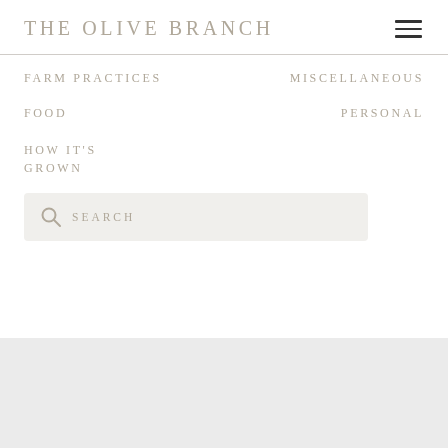THE OLIVE BRANCH
FARM PRACTICES
MISCELLANEOUS
FOOD
PERSONAL
HOW IT'S GROWN
SEARCH